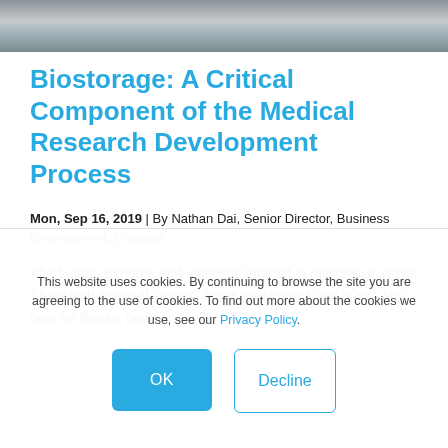[Figure (photo): Lab equipment on a surface, top-down view, grayscale/muted tones]
Biostorage: A Critical Component of the Medical Research Development Process
Mon, Sep 16, 2019 | By Nathan Dai, Senior Director, Business Development, Cryoport
The human genome and diseases interact in mysterious ways. Along with external factors, these interactions can affect who gets an illness, how
This website uses cookies. By continuing to browse the site you are agreeing to the use of cookies. To find out more about the cookies we use, see our Privacy Policy.